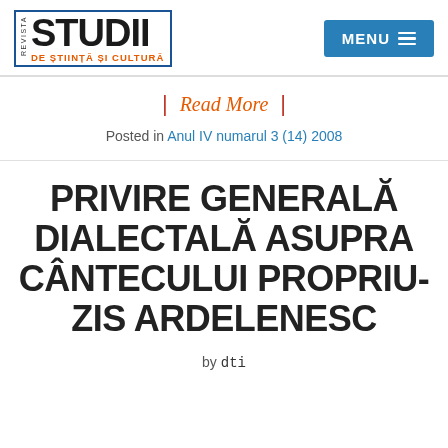REVISTA STUDII DE ȘTIINȚĂ ȘI CULTURĂ
Read More
Posted in Anul IV numarul 3 (14) 2008
PRIVIRE GENERALĂ DIALECTALĂ ASUPRA CÂNTECULUI PROPRIU-ZIS ARDELENESC
by dti